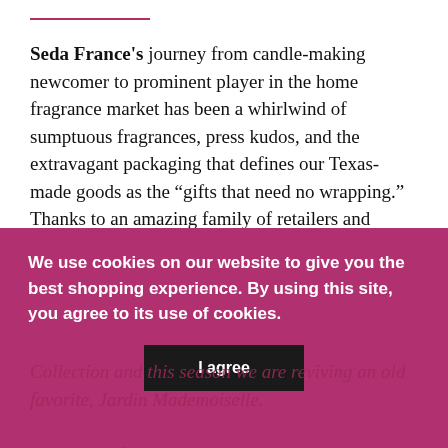Seda France's journey from candle-making newcomer to prominent player in the home fragrance market has been a whirlwind of sumptuous fragrances, press kudos, and the extravagant packaging that defines our Texas-made goods as the “gifts that need no wrapping.” Thanks to an amazing family of retailers and legions of loyal fans, we find ourselves continuing to evolve while staying true to who we are, from our signature Classic Toile Pagoda Box Candles and the beloved aroma of Japanese Quince to the posh newer Lexington Gardens Collection and this season we are reviving an old favorite, the Jardin Mademoiselle.
We use cookies on our website to give you the best shopping experience. By using this site, you agree to its use of cookies.
We’re grateful – and thrilled by – multiple boosts from the media over the years, too, including mentions in Architectural Digest, Real Simple, Harper’s Bazaar, Southern Living, and Martha Stewart Weddings, just to name a few.